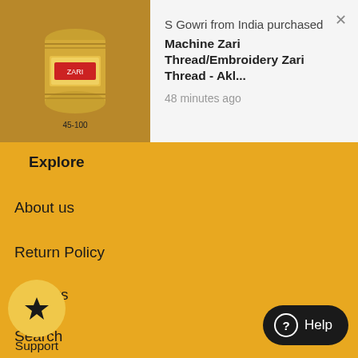[Figure (screenshot): Product image of a golden/bronze thread spool on amber background]
S Gowri from India purchased
Machine Zari Thread/Embroidery Zari Thread - Akl...
48 minutes ago
Explore
About us
Return Policy
Careers
Search
Support
Help